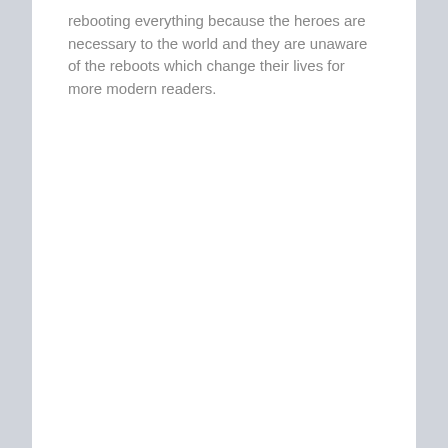rebooting everything because the heroes are necessary to the world and they are unaware of the reboots which change their lives for more modern readers.